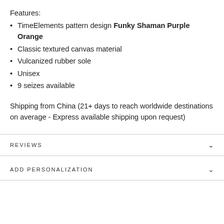Features:
TimeElements pattern design Funky Shaman Purple Orange
Classic textured canvas material
Vulcanized rubber sole
Unisex
9 seizes available
Shipping from China (21+ days to reach worldwide destinations on average - Express available shipping upon request)
REVIEWS
ADD PERSONALIZATION